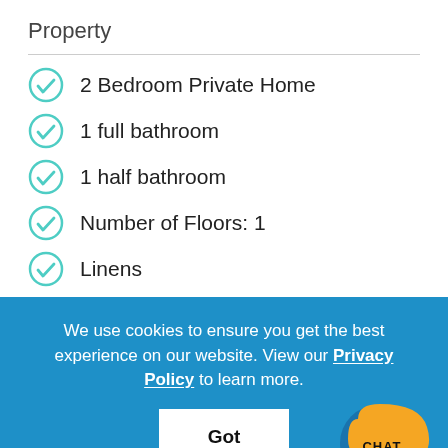Property
2 Bedroom Private Home
1 full bathroom
1 half bathroom
Number of Floors: 1
Linens
We use cookies to ensure you get the best experience on our website. View our Privacy Policy to learn more.
Got it!